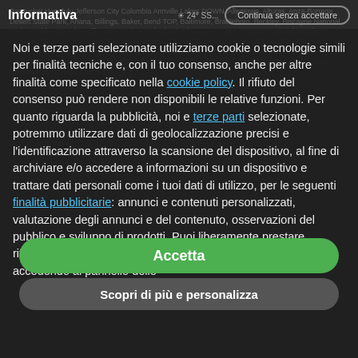Informativa
Noi e terze parti selezionate utilizziamo cookie o tecnologie simili per finalità tecniche e, con il tuo consenso, anche per altre finalità come specificato nella cookie policy. Il rifiuto del consenso può rendere non disponibili le relative funzioni. Per quanto riguarda la pubblicità, noi e terze parti selezionate, potremmo utilizzare dati di geolocalizzazione precisi e l'identificazione attraverso la scansione del dispositivo, al fine di archiviare e/o accedere a informazioni su un dispositivo e trattare dati personali come i tuoi dati di utilizzo, per le seguenti finalità pubblicitarie: annunci e contenuti personalizzati, valutazione degli annunci e del contenuto, osservazioni del pubblico e sviluppo di prodotti. Puoi liberamente prestare, rifiutare o revocare il tuo consenso, in qualsiasi momento, accedendo al pannello delle
Accetta
Scopri di più e personalizza